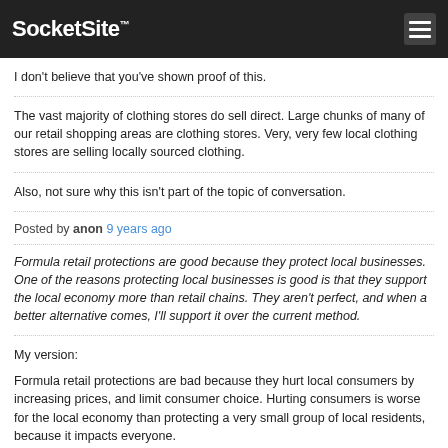SocketSite™
I don't believe that you've shown proof of this.
The vast majority of clothing stores do sell direct. Large chunks of many of our retail shopping areas are clothing stores. Very, very few local clothing stores are selling locally sourced clothing.
Also, not sure why this isn't part of the topic of conversation.
Posted by anon 9 years ago
Formula retail protections are good because they protect local businesses. One of the reasons protecting local businesses is good is that they support the local economy more than retail chains. They aren't perfect, and when a better alternative comes, I'll support it over the current method.
My version:
Formula retail protections are bad because they hurt local consumers by increasing prices, and limit consumer choice. Hurting consumers is worse for the local economy than protecting a very small group of local residents, because it impacts everyone.